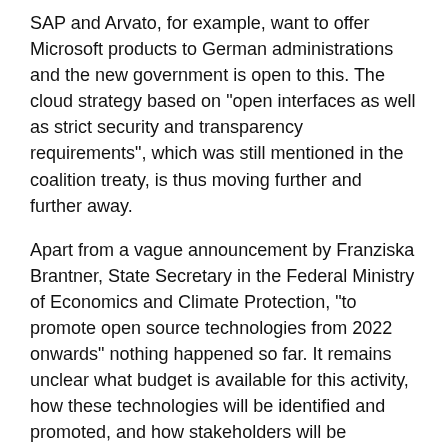SAP and Arvato, for example, want to offer Microsoft products to German administrations and the new government is open to this. The cloud strategy based on "open interfaces as well as strict security and transparency requirements", which was still mentioned in the coalition treaty, is thus moving further and further away.
Apart from a vague announcement by Franziska Brantner, State Secretary in the Federal Ministry of Economics and Climate Protection, "to promote open source technologies from 2022 onwards" nothing happened so far. It remains unclear what budget is available for this activity, how these technologies will be identified and promoted, and how stakeholders will be integrated into the process, especially civil society.
The Minister of the Interior, Nancy Faeser, who is supposed to push the topic of digitisation for administrations, has so far remained reserved, as has the chancellor. Although "much more speed" is to be made, how this is to happen in concrete terms remains